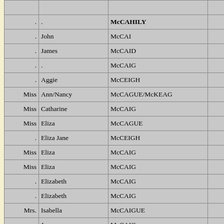|  |  |  |  |
| --- | --- | --- | --- |
|  |  |  |  |
| . | . | McCAHILY |  |
| . | John | McCAI |  |
| . | James | McCAID |  |
| . | . | McCAIG |  |
| . | Aggie | McCEIGH |  |
| Miss | Ann/Nancy | McCAGUE/McKEAG |  |
| Miss | Catharine | McCAIG |  |
| Miss | Eliza | McCAGUE |  |
| . | Eliza Jane | McCEIGH |  |
| Miss | Eliza | McCAIG |  |
| Miss | Eliza | McCAIG |  |
| . | Elizabeth | McCAIG |  |
| . | Elizabeth | McCAIG |  |
| Mrs. | Isabella | McCAIGUE |  |
| . | James | McCAIG |  |
| . | James | McCAIG |  |
| . | James | McCAIG |  |
|  |  | McKEAG |  |